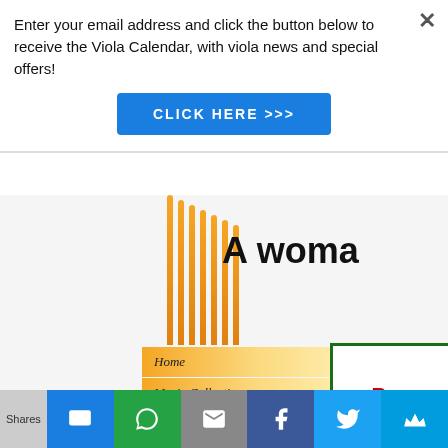Enter your email address and click the button below to receive the Viola Calendar, with viola news and special offers!
[Figure (screenshot): Blue 'CLICK HERE >>>' button]
A woma
[Figure (infographic): Decorative vertical orange gradient stripes]
Home
Music Collection
Viola Calendar
What's New?
Buy
Shares
[Figure (infographic): Social sharing bar with SMS, WhatsApp, Email, Facebook, Twitter, and another social icon buttons]